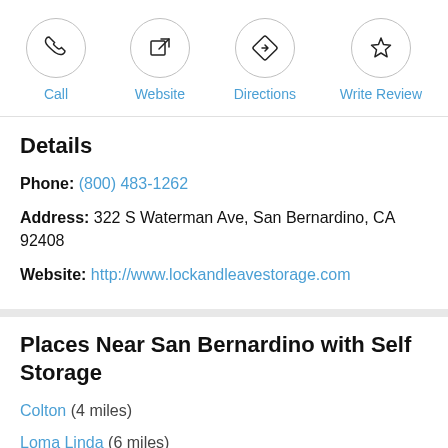[Figure (infographic): Four action buttons in circles: Call (phone icon), Website (external link icon), Directions (road sign icon), Write Review (star icon)]
Details
Phone: (800) 483-1262
Address: 322 S Waterman Ave, San Bernardino, CA 92408
Website: http://www.lockandleavestorage.com
Places Near San Bernardino with Self Storage
Colton (4 miles)
Loma Linda (6 miles)
Patton (7 miles)
Highland (7 miles)
Grand Terrace (8 miles)
Rialto (9 miles)